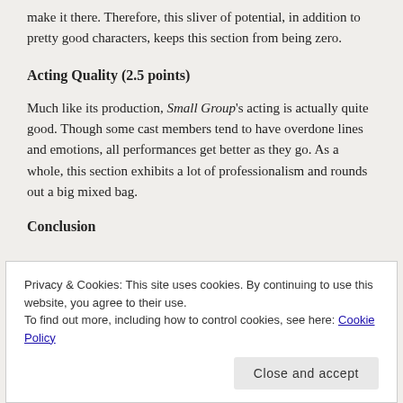make it there. Therefore, this sliver of potential, in addition to pretty good characters, keeps this section from being zero.
Acting Quality (2.5 points)
Much like its production, Small Group's acting is actually quite good. Though some cast members tend to have overdone lines and emotions, all performances get better as they go. As a whole, this section exhibits a lot of professionalism and rounds out a big mixed bag.
Conclusion
Privacy & Cookies: This site uses cookies. By continuing to use this website, you agree to their use.
To find out more, including how to control cookies, see here: Cookie Policy
Close and accept